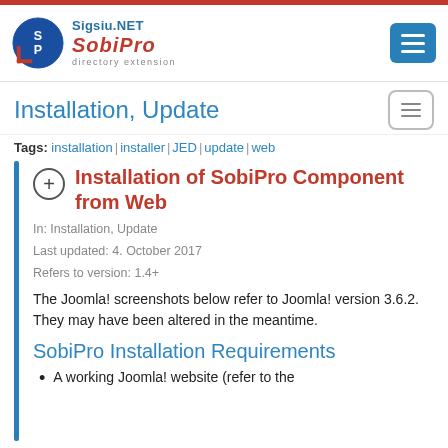Sigsiu.NET SobiPro directory extension
Installation, Update
Tags: installation | installer | JED | update | web
Installation of SobiPro Component from Web
In: Installation, Update
Last updated: 4. October 2017
Refers to version: 1.4+
The Joomla! screenshots below refer to Joomla! version 3.6.2. They may have been altered in the meantime.
SobiPro Installation Requirements
A working Joomla! website (refer to the